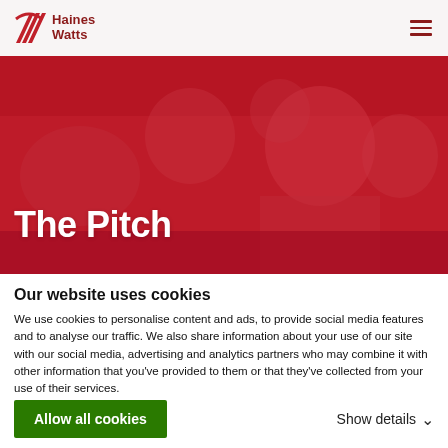Haines Watts
[Figure (photo): Red-tinted photo of a group of people applauding and smiling at a business event, with a man in the foreground smiling broadly. A red color overlay covers the image.]
The Pitch
Our website uses cookies
We use cookies to personalise content and ads, to provide social media features and to analyse our traffic. We also share information about your use of our site with our social media, advertising and analytics partners who may combine it with other information that you've provided to them or that they've collected from your use of their services.
Allow all cookies
Show details